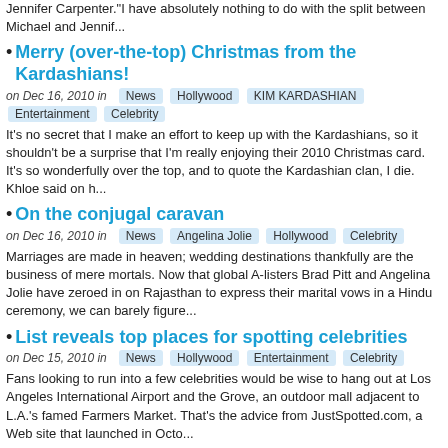Jennifer Carpenter."I have absolutely nothing to do with the split between Michael and Jennif...
Merry (over-the-top) Christmas from the Kardashians!
on Dec 16, 2010 in  News  Hollywood  KIM KARDASHIAN  Entertainment  Celebrity
It's no secret that I make an effort to keep up with the Kardashians, so it shouldn't be a surprise that I'm really enjoying their 2010 Christmas card. It's so wonderfully over the top, and to quote the Kardashian clan, I die. Khloe said on h...
On the conjugal caravan
on Dec 16, 2010 in  News  Angelina Jolie  Hollywood  Celebrity
Marriages are made in heaven; wedding destinations thankfully are the business of mere mortals. Now that global A-listers Brad Pitt and Angelina Jolie have zeroed in on Rajasthan to express their marital vows in a Hindu ceremony, we can barely figure...
List reveals top places for spotting celebrities
on Dec 15, 2010 in  News  Hollywood  Entertainment  Celebrity
Fans looking to run into a few celebrities would be wise to hang out at Los Angeles International Airport and the Grove, an outdoor mall adjacent to L.A.'s famed Farmers Market. That's the advice from JustSpotted.com, a Web site that launched in Octo...
Justin Bieber Co-Signs Diddy's Album While Recording New Track
on Dec 15, 2010 in  Music  News  Hollywood  Entertainment  Celebrity  Justin Bieber
So I was browsing an MTV News account and noticed Justin Biebi...